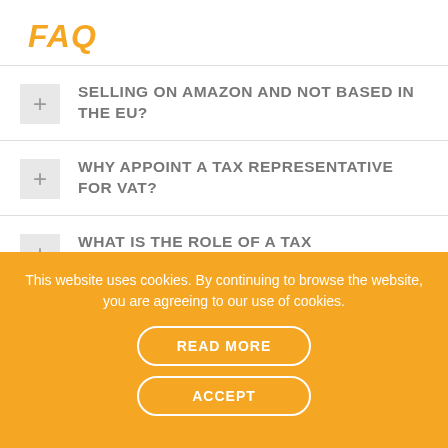FAQ
SELLING ON AMAZON AND NOT BASED IN THE EU?
WHY APPOINT A TAX REPRESENTATIVE FOR VAT?
WHAT IS THE ROLE OF A TAX REPRESENTATIVE FOR VAT?
This website uses cookies. By continuing to browse the website, you are agreeing to our use of cookies.
READ MORE
ACCEPT